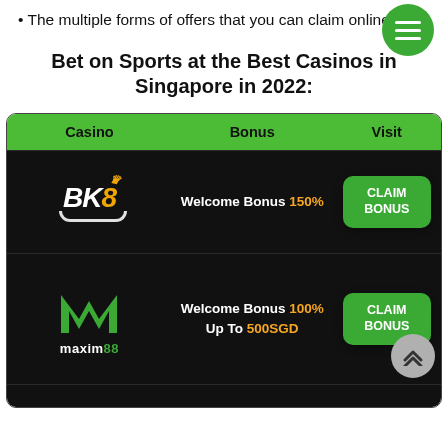The multiple forms of offers that you can claim online.
Bet on Sports at the Best Casinos in Singapore in 2022:
| Casino | Bonus | Visit |
| --- | --- | --- |
| BK8 | Welcome Bonus 150% | CLAIM BONUS |
| maxim88 | Welcome Bonus 100% Up To 500SGD | CLAIM BONUS |